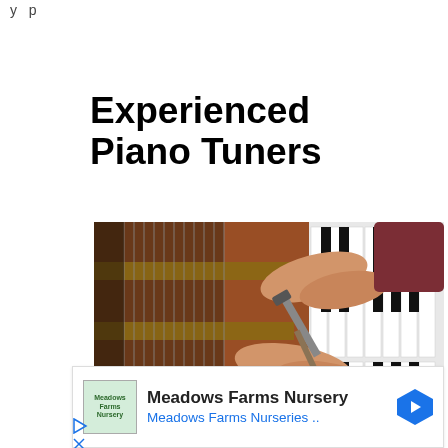y p
Experienced Piano Tuners
[Figure (photo): A piano tuner's hands working inside an open grand piano, using a tuning hammer/wrench on the tuning pins, with piano strings and keys visible.]
Meadows Farms Nursery
Meadows Farms Nurseries ..